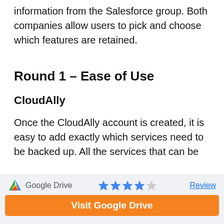information from the Salesforce group. Both companies allow users to pick and choose which features are retained.
Round 1 – Ease of Use
CloudAlly
Once the CloudAlly account is created, it is easy to add exactly which services need to be backed up. All the services that can be
[Figure (logo): Google Drive logo (triangle with green, yellow, blue) followed by text 'Google Drive', star rating of 4 out of 5 stars, and a 'Review' link]
Visit Google Drive